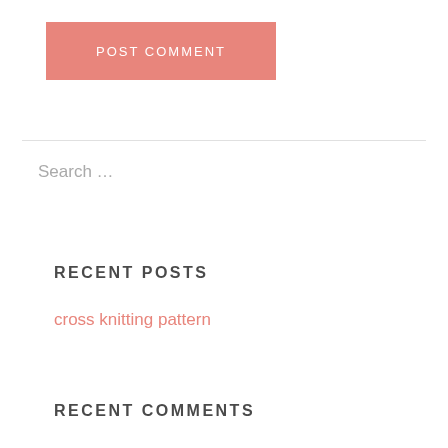POST COMMENT
Search …
RECENT POSTS
cross knitting pattern
RECENT COMMENTS